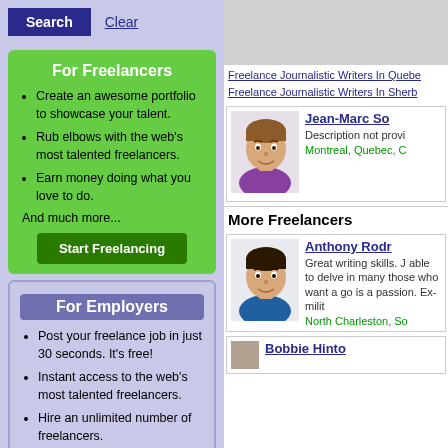For Freelancers
Create an awesome portfolio to showcase your talent.
Rub elbows with the web's most talented freelancers.
Earn money doing what you love to do.
And much more...
Start Freelancing
For Employers
Post your freelance job in just 30 seconds. It's free!
Instant access to the web's most talented freelancers.
Hire an unlimited number of freelancers.
And much more...
Post Your Job
[Figure (illustration): Gray advertisement placeholder box]
Freelance Journalistic Writers In Quebe
Freelance Journalistic Writers In Sherb
[Figure (illustration): Avatar illustration of Jean-Marc So, male with brown hair, purple shirt]
Jean-Marc So
Description not provi
Montreal, Quebec, C
More Freelancers
[Figure (illustration): Avatar illustration of Anthony Rodr, male with dark hair, blue shirt]
Anthony Rodr
Great writing skills. J able to delve in many those who want a go is a passion. Ex-milit
North Charleston, So
Bobbie Hinto